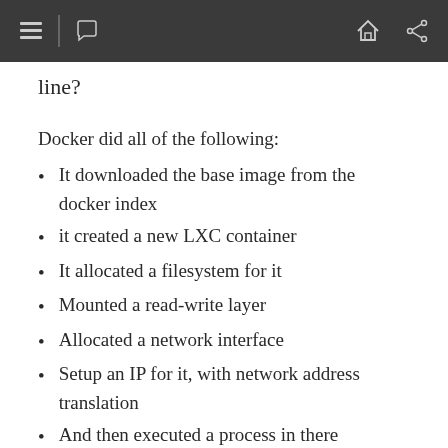[navigation bar with icons]
line?
Docker did all of the following:
It downloaded the base image from the docker index
it created a new LXC container
It allocated a filesystem for it
Mounted a read-write layer
Allocated a network interface
Setup an IP for it, with network address translation
And then executed a process in there
Connected to...